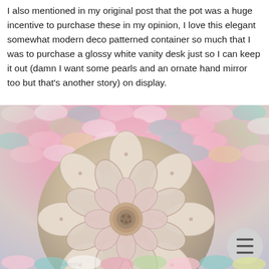I also mentioned in my original post that the pot was a huge incentive to purchase these in my opinion, I love this elegant somewhat modern deco patterned container so much that I was to purchase a glossy white vanity desk just so I can keep it out (damn I want some pearls and an ornate hand mirror too but that's another story) on display.
[Figure (photo): Close-up photo of a decorative round compact with an ornate floral/dahlia pattern on the lid, set against a colorful pink, white, green and teal crocheted or quilted fabric background. A circular grey menu button with three horizontal lines is visible in the bottom right.]